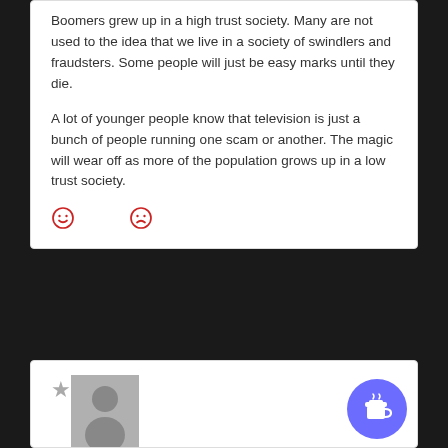Boomers grew up in a high trust society. Many are not used to the idea that we live in a society of swindlers and fraudsters. Some people will just be easy marks until they die.

A lot of younger people know that television is just a bunch of people running one scam or another. The magic will wear off as more of the population grows up in a low trust society.
[Figure (illustration): Two emoji reaction icons: a smiley face and a frowning face, both in red/outline style]
[Figure (illustration): A grey placeholder avatar with a person silhouette. A star icon to the left. A blue circular button with a coffee cup icon in the bottom right corner.]